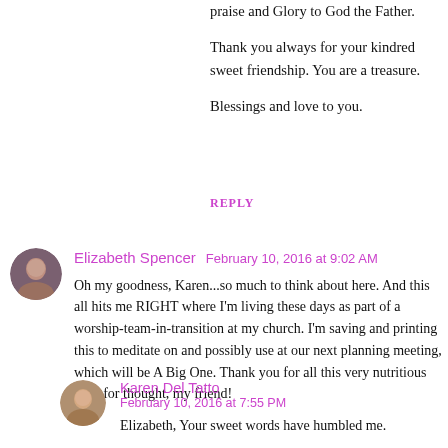praise and Glory to God the Father.
Thank you always for your kindred sweet friendship. You are a treasure.
Blessings and love to you.
REPLY
Elizabeth Spencer  February 10, 2016 at 9:02 AM
Oh my goodness, Karen...so much to think about here. And this all hits me RIGHT where I'm living these days as part of a worship-team-in-transition at my church. I'm saving and printing this to meditate on and possibly use at our next planning meeting, which will be A Big One. Thank you for all this very nutritious food for thought, my friend!
Karen Del Tatto  February 10, 2016 at 7:55 PM
Elizabeth, Your sweet words have humbled me.